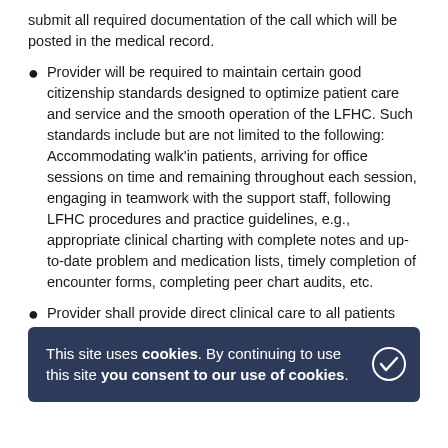submit all required documentation of the call which will be posted in the medical record.
Provider will be required to maintain certain good citizenship standards designed to optimize patient care and service and the smooth operation of the LFHC. Such standards include but are not limited to the following: Accommodating walk'in patients, arriving for office sessions on time and remaining throughout each session, engaging in teamwork with the support staff, following LFHC procedures and practice guidelines, e.g., appropriate clinical charting with complete notes and up-to-date problem and medication lists, timely completion of encounter forms, completing peer chart audits, etc.
Provider shall provide direct clinical care to all patients assigned to Provider in accordance with applicable standards and practices of the medical profession, and Hospital policies and procedures, as applicable.
This site uses cookies. By continuing to use this site you consent to our use of cookies.
Minimum Qualifications: